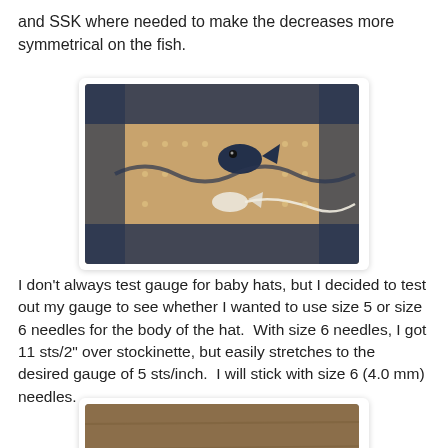and SSK where needed to make the decreases more symmetrical on the fish.
[Figure (photo): Close-up photo of knitting in progress showing a fish motif in navy/cream yarn with a small white fish detail and loose yarn tail.]
I don't always test gauge for baby hats, but I decided to test out my gauge to see whether I wanted to use size 5 or size 6 needles for the body of the hat.  With size 6 needles, I got 11 sts/2" over stockinette, but easily stretches to the desired gauge of 5 sts/inch.  I will stick with size 6 (4.0 mm) needles.
[Figure (photo): Photo of knitting needles with cast-on stitches in cream/white yarn on a wooden surface, showing the beginning of a knitting project.]